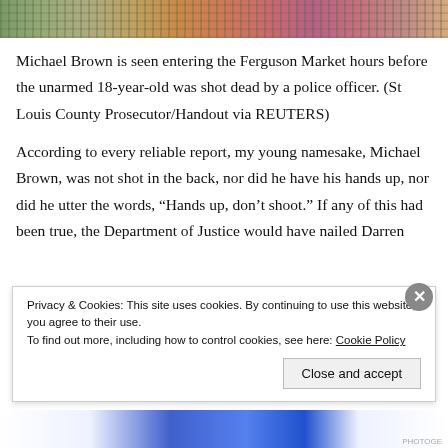[Figure (photo): Partial screenshot of a store surveillance image showing colorful merchandise shelves, green floor tiles visible at top]
Michael Brown is seen entering the Ferguson Market hours before the unarmed 18-year-old was shot dead by a police officer. (St Louis County Prosecutor/Handout via REUTERS)
According to every reliable report, my young namesake, Michael Brown, was not shot in the back, nor did he have his hands up, nor did he utter the words, “Hands up, don’t shoot.” If any of this had been true, the Department of Justice would have nailed Darren
Privacy & Cookies: This site uses cookies. By continuing to use this website, you agree to their use.
To find out more, including how to control cookies, see here: Cookie Policy
Close and accept